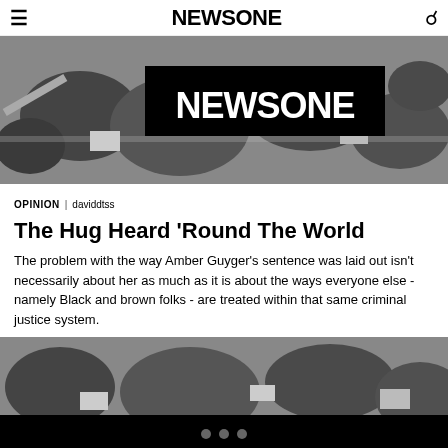NEWSONE
[Figure (photo): Aerial black-and-white photograph of a suburban neighborhood with trees and houses, with a large black banner showing NEWSONE logo in white text]
OPINION | daviddtss
The Hug Heard 'Round The World
The problem with the way Amber Guyger's sentence was laid out isn't necessarily about her as much as it is about the ways everyone else - namely Black and brown folks - are treated within that same criminal justice system.
[Figure (photo): Aerial black-and-white photograph of a suburban neighborhood with trees and houses, partially visible, cropped at bottom]
• • •